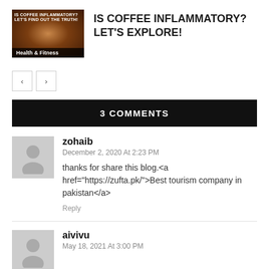[Figure (photo): Thumbnail image of a coffee cup with text overlay 'IS COFFEE INFLAMMATORY? LET'S FIND OUT THE TRUTH' and a 'Health & Fitness' category badge at the bottom]
IS COFFEE INFLAMMATORY? LET'S EXPLORE!
3 COMMENTS
zohaib
December 2, 2020 At 2:23 PM
thanks for share this blog.<a href="https://zufta.pk/">Best tourism company in pakistan</a>
Reply
aivivu
May 18, 2021 At 3:00 PM